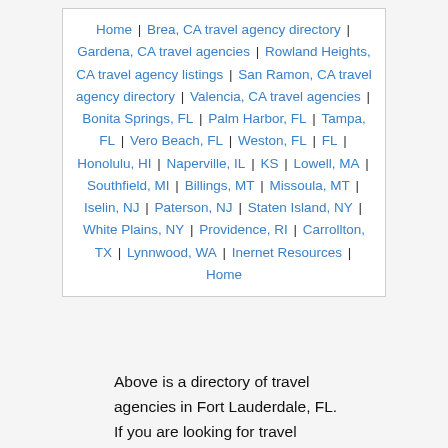Home | Brea, CA travel agency directory | Gardena, CA travel agencies | Rowland Heights, CA travel agency listings | San Ramon, CA travel agency directory | Valencia, CA travel agencies | Bonita Springs, FL | Palm Harbor, FL | Tampa, FL | Vero Beach, FL | Weston, FL | FL | Honolulu, HI | Naperville, IL | KS | Lowell, MA | Southfield, MI | Billings, MT | Missoula, MT | Iselin, NJ | Paterson, NJ | Staten Island, NY | White Plains, NY | Providence, RI | Carrollton, TX | Lynnwood, WA | Inernet Resources | Home
« 1 2 3 »
Above is a directory of travel agencies in Fort Lauderdale, FL. If you are looking for travel agency services, you might find a lot of